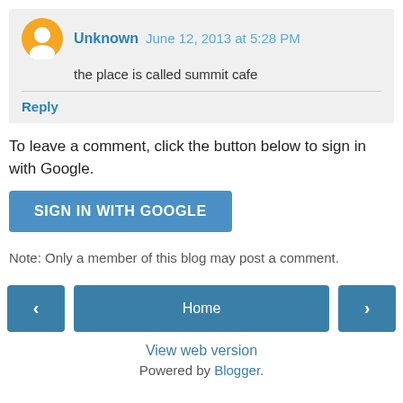Unknown  June 12, 2013 at 5:28 PM
the place is called summit cafe
Reply
To leave a comment, click the button below to sign in with Google.
[Figure (other): Sign in with Google button]
Note: Only a member of this blog may post a comment.
[Figure (other): Navigation bar with previous arrow, Home button, and next arrow]
View web version
Powered by Blogger.